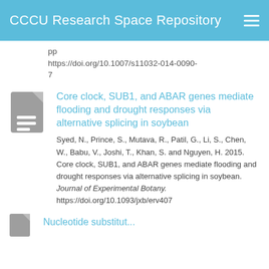CCCU Research Space Repository
https://doi.org/10.1007/s11032-014-0090-7
Core clock, SUB1, and ABAR genes mediate flooding and drought responses via alternative splicing in soybean
Syed, N., Prince, S., Mutava, R., Patil, G., Li, S., Chen, W., Babu, V., Joshi, T., Khan, S. and Nguyen, H. 2015. Core clock, SUB1, and ABAR genes mediate flooding and drought responses via alternative splicing in soybean. Journal of Experimental Botany. https://doi.org/10.1093/jxb/erv407